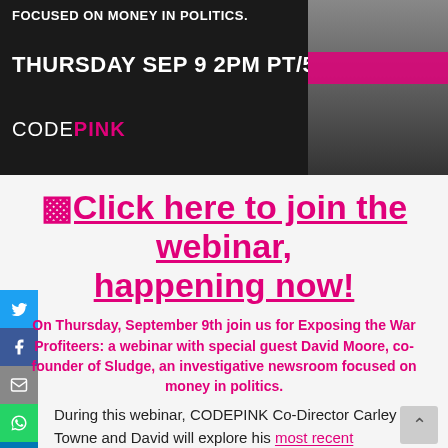[Figure (infographic): Dark banner with text 'FOCUSED ON MONEY IN POLITICS.' at top, 'THURSDAY SEP 9 2PM PT/5PM ET' in white bold, CODEPINK logo in pink/white, pink color bar accent, and grayscale photo of man on right side]
🔲Click here to join the webinar, happening now!
On Thursday, September 9th join us for Exposing the War Profiteers: a webinar with special guest David Moore, co-founder of Sludge, an investigative newsroom focused on money in politics.
During this webinar, CODEPINK Co-Director Carley Towne and David will explore his most recent investigative report detailing the members of Congress who personally profit from investments in the same military contractors they vote to enrich every year.